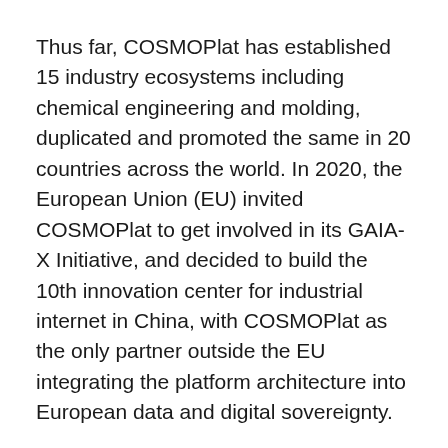Thus far, COSMOPlat has established 15 industry ecosystems including chemical engineering and molding, duplicated and promoted the same in 20 countries across the world. In 2020, the European Union (EU) invited COSMOPlat to get involved in its GAIA-X Initiative, and decided to build the 10th innovation center for industrial internet in China, with COSMOPlat as the only partner outside the EU integrating the platform architecture into European data and digital sovereignty.
With the continuous advancement of Industry 4.0 globally, how to use digital technology to improve the intelligent production and management capacity will be the key to the future development of enterprises. COSMOPlat's theory and rich practice in